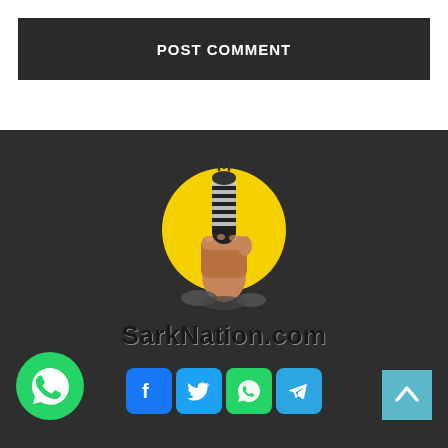POST COMMENT
[Figure (logo): SarkNation.com logo: a fist holding a microphone rising from rubble, on a yellow circle background, with the text SarkNation.com below]
[Figure (logo): WhatsApp floating button (green phone icon on white circular background)]
[Figure (infographic): Social media share icons: Facebook (blue f), Twitter (blue bird), WhatsApp (green phone), Telegram (blue paper plane)]
[Figure (other): Scroll to top button (teal/cyan square with upward chevron arrow)]